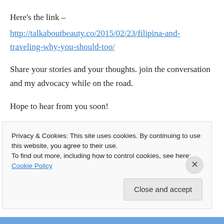Here's the link –
http://talkaboutbeauty.co/2015/02/23/filipina-and-traveling-why-you-should-too/
Share your stories and your thoughts. join the conversation and my advocacy while on the road.
Hope to hear from you soon!
Regards,
Privacy & Cookies: This site uses cookies. By continuing to use this website, you agree to their use.
To find out more, including how to control cookies, see here: Cookie Policy
Close and accept